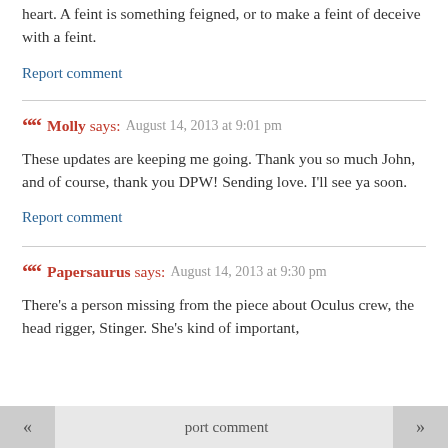heart. A feint is something feigned, or to make a feint of deceive with a feint.
Report comment
Molly says: August 14, 2013 at 9:01 pm
These updates are keeping me going. Thank you so much John, and of course, thank you DPW! Sending love. I'll see ya soon.
Report comment
Papersaurus says: August 14, 2013 at 9:30 pm
There's a person missing from the piece about Oculus crew, the head rigger, Stinger. She's kind of important,
port comment